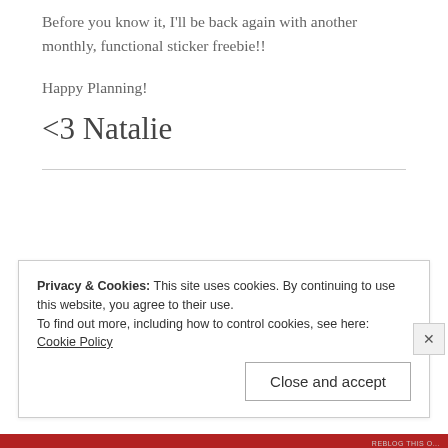Before you know it, I'll be back again with another monthly, functional sticker freebie!!
Happy Planning!
<3 Natalie
Privacy & Cookies: This site uses cookies. By continuing to use this website, you agree to their use. To find out more, including how to control cookies, see here: Cookie Policy
Close and accept